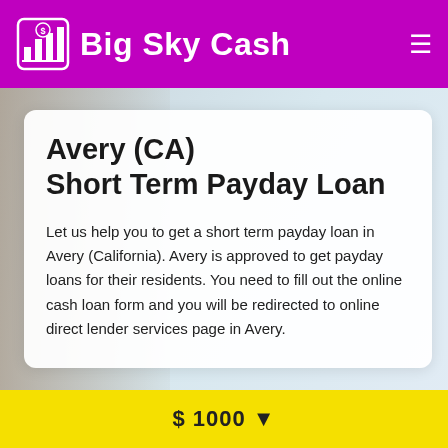Big Sky Cash
Avery (CA) Short Term Payday Loan
Let us help you to get a short term payday loan in Avery (California). Avery is approved to get payday loans for their residents. You need to fill out the online cash loan form and you will be redirected to online direct lender services page in Avery.
$ 1000